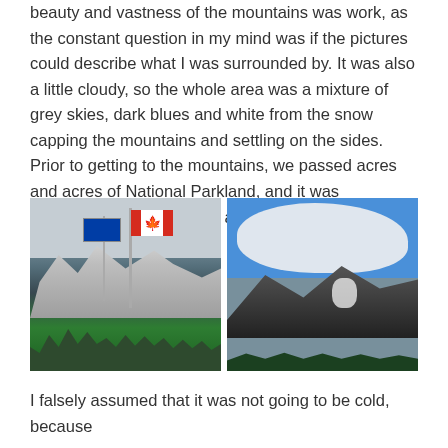beauty and vastness of the mountains was work, as the constant question in my mind was if the pictures could describe what I was surrounded by. It was also a little cloudy, so the whole area was a mixture of grey skies, dark blues and white from the snow capping the mountains and settling on the sides. Prior to getting to the mountains, we passed acres and acres of National Parkland, and it was fascinating to just drive by all of the beauty of the trees.
[Figure (photo): Two side-by-side photos of Canadian mountains. Left: Canadian and Alberta flags on poles with snow-capped mountains and evergreen trees in the background under a cloudy grey sky. Right: Dark rocky mountain under a blue sky with white clouds.]
I falsely assumed that it was not going to be cold, because